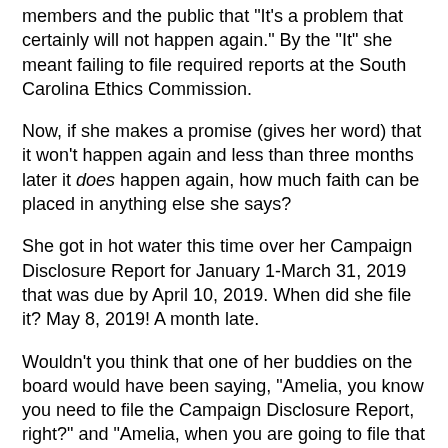members and the public that "It's a problem that certainly will not happen again." By the "It" she meant failing to file required reports at the South Carolina Ethics Commission.
Now, if she makes a promise (gives her word) that it won't happen again and less than three months later it does happen again, how much faith can be placed in anything else she says?
She got in hot water this time over her Campaign Disclosure Report for January 1-March 31, 2019 that was due by April 10, 2019. When did she file it? May 8, 2019! A month late.
Wouldn't you think that one of her buddies on the board would have been saying, "Amelia, you know you need to file the Campaign Disclosure Report, right?" and "Amelia, when you are going to file that report?" and "Amelia, did you file the report?"  Or did all of her buddies clam up and just sit on their hands, waiting for Amelia to self-destruct?
McKie owes $51,850 to the South Carolina Ethics Commission. That amount is no longer negotiable. The